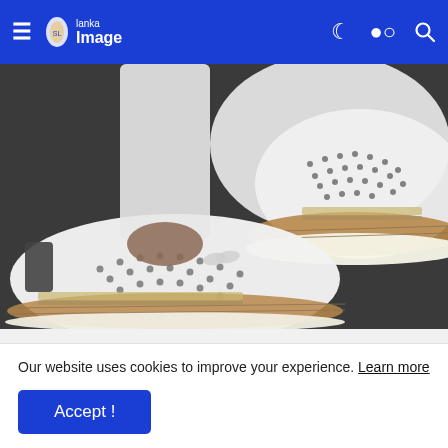≡ Lanka Image (moon icon) (search icon)
[Figure (photo): Close-up photo of a person wearing white jeans and white perforated slip-on sneakers with tan/cork soles and stitching, standing on a dark surface.]
The Sneakers for Standing All Day Without Discomfort
dotmall
Shop Now
Our website uses cookies to improve your experience. Learn more
Accept !